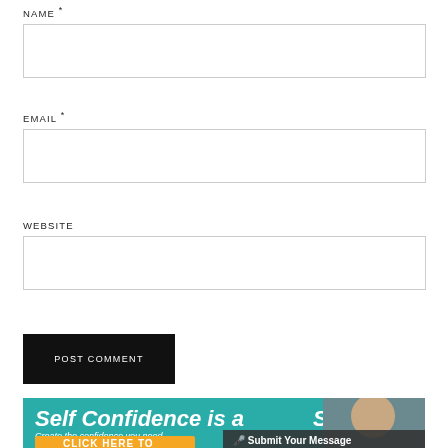NAME *
EMAIL *
WEBSITE
POST COMMENT
[Figure (infographic): Self Confidence is a SKILL banner ad with teal background, white italic bold text reading 'Self Confidence is a SKILL', subtitle 'Create the confidence you need to do the things you dream of', orange button 'CLICK HERE TO', a person's photo on the right, and a dark 'Submit Your Message' bar at the bottom right.]